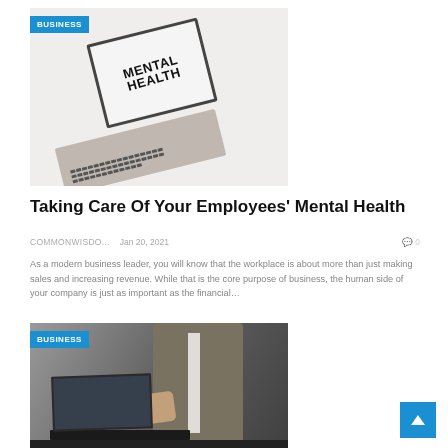[Figure (photo): Laptop showing 'MENTAL HEALTH' text on screen, on a white fluffy surface, with a blue BUSINESS badge overlay]
Taking Care Of Your Employees' Mental Health
COMMONWISDO...   Jan 20, 2021   0
As a modern business leader, you will know that the workplace is about more than just making sales and increasing revenue. While that is the core purpose of business, the human side of your company is just as important as the financial...
[Figure (photo): Person typing on a laptop, wearing a khaki jacket, with a blue BUSINESS badge overlay]